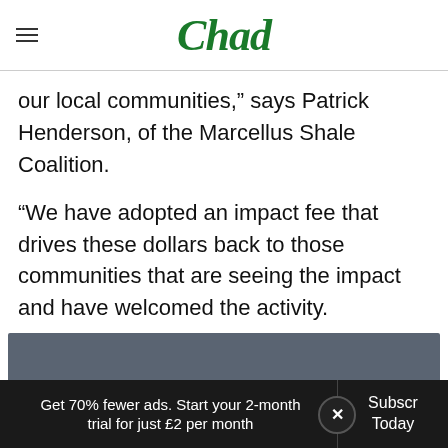Chad
our local communities,” says Patrick Henderson, of the Marcellus Shale Coalition.
“We have adopted an impact fee that drives these dollars back to those communities that are seeing the impact and have welcomed the activity.
[Figure (screenshot): Advertisement banner at bottom: dark gray box, light blue strip, black bar with text 'Get 70% fewer ads. Start your 2-month trial for just £2 per month' and 'Subscribe Today' button with a close X button]